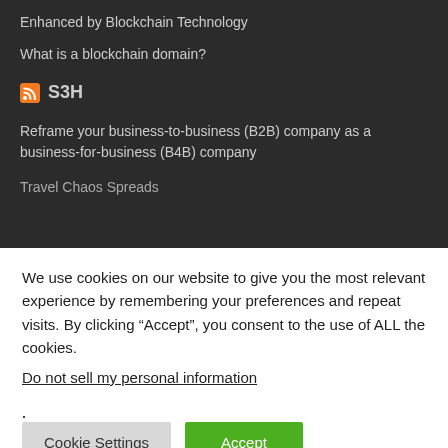Enhanced by Blockchain Technology
What is a blockchain domain?
S3H
Reframe your business-to-business (B2B) company as a business-for-business (B4B) company
Travel Chaos Spreads
We use cookies on our website to give you the most relevant experience by remembering your preferences and repeat visits. By clicking “Accept”, you consent to the use of ALL the cookies.
Do not sell my personal information.
Cookie Settings
Accept